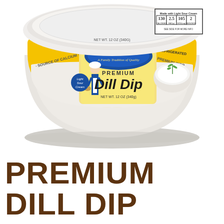[Figure (photo): Dutch Farms Premium Dill Dip container — a round white plastic tub with a yellow and white label. The label features the Dutch Farms logo with a Dutch woman illustration and the text 'A Family Tradition of Quality', 'PREMIUM', 'Dill Dip', 'NET WT. 12 OZ (340g)', 'KEEP REFRIGERATED', 'Light Sour Cream', 'SOURCE OF CALCIUM', 'PREMIUM INGR...'. A bowl of white dip with a dill sprig is shown on the right side of the label. Nutrition facts visible on top lid.]
PREMIUM DILL DIP